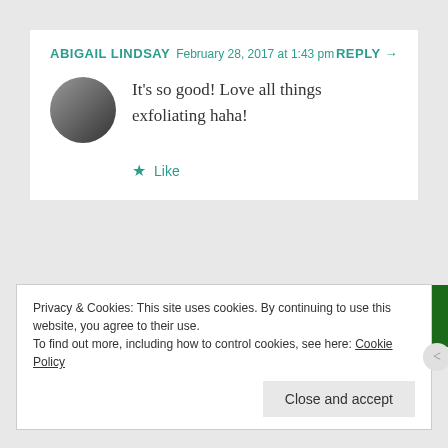ABIGAIL LINDSAY   February 28, 2017 at 1:43 pm   REPLY →
It's so good! Love all things exfoliating haha!
★ Like
[Figure (illustration): Green advertisement banner with circular white logo and text on left, darker green section on right with underlined text 'Back up your site']
REPORT THIS AD
Privacy & Cookies: This site uses cookies. By continuing to use this website, you agree to their use.
To find out more, including how to control cookies, see here: Cookie Policy
Close and accept